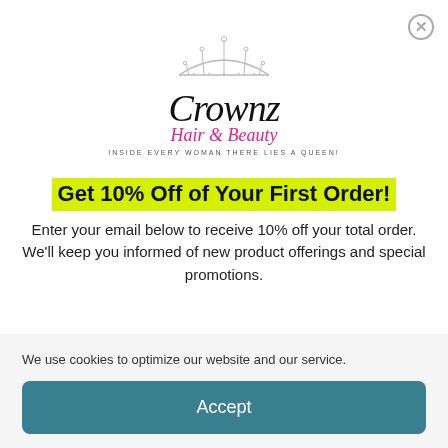[Figure (logo): Crownz Hair & Beauty logo with crown graphic and tagline 'INSIDE EVERY WOMAN THERE LIES A QUEEN!']
Get 10% Off of Your First Order!
Enter your email below to receive 10% off your total order. We'll keep you informed of new product offerings and special promotions.
We use cookies to optimize our website and our service.
Accept